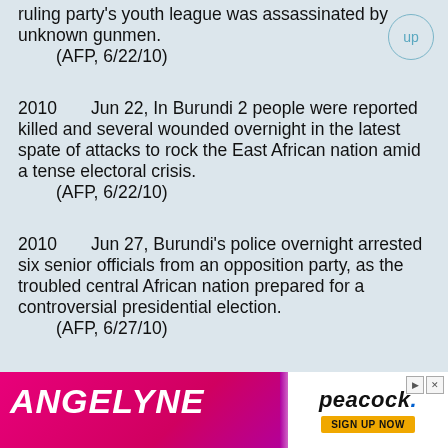ruling party's youth league was assassinated by unknown gunmen.
    (AFP, 6/22/10)
2010       Jun 22, In Burundi 2 people were reported killed and several wounded overnight in the latest spate of attacks to rock the East African nation amid a tense electoral crisis.
    (AFP, 6/22/10)
2010       Jun 27, Burundi's police overnight arrested six senior officials from an opposition party, as the troubled central African nation prepared for a controversial presidential election.
    (AFP, 6/27/10)
2010       Jun 28, Burundi began voting for a president. Incumbent Pres. Pierre Nkurunziza was the lone candidate.
    (AP, 6/28/10)
2010       Jun 30, In Burundi politicians
[Figure (photo): Advertisement banner for Angelyne show on Peacock streaming service, featuring a blonde woman in pink with sunglasses. Includes Peacock logo and 'SIGN UP NOW' button.]